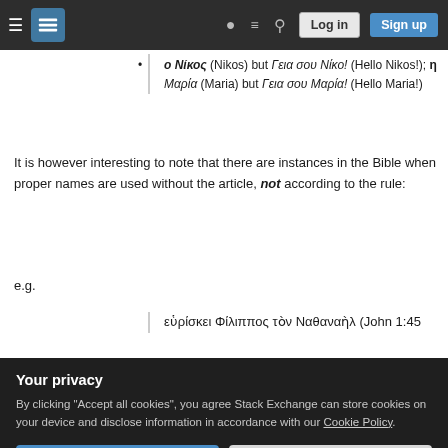Stack Exchange navigation bar with hamburger, logo, help, chat, search, Log in, Sign up
ο Νίκος (Nikos) but Γεια σου Νίκο! (Hello Nikos!); η Μαρία (Maria) but Γεια σου Μαρία! (Hello Maria!)
It is however interesting to note that there are instances in the Bible when proper names are used without the article, not according to the rule:
e.g.
εὑρίσκει Φίλιππος τὸν Ναθαναὴλ (John 1:45
Philip)
Your privacy
By clicking "Accept all cookies", you agree Stack Exchange can store cookies on your device and disclose information in accordance with our Cookie Policy.